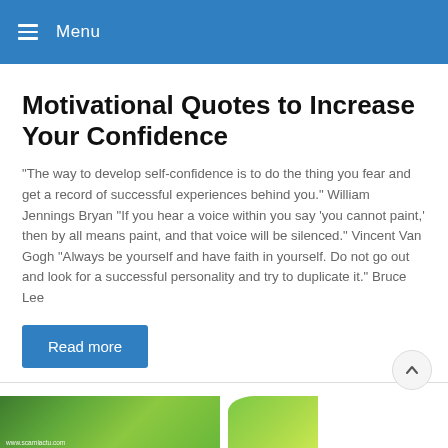≡ Menu
Motivational Quotes to Increase Your Confidence
"The way to develop self-confidence is to do the thing you fear and get a record of successful experiences behind you." William Jennings Bryan "If you hear a voice within you say 'you cannot paint,' then by all means paint, and that voice will be silenced." Vincent Van Gogh "Always be yourself and have faith in yourself. Do not go out and look for a successful personality and try to duplicate it." Bruce Lee
Read more
[Figure (photo): Green nature/plant themed image at the bottom of the page with watermark www.scarniactu.com]